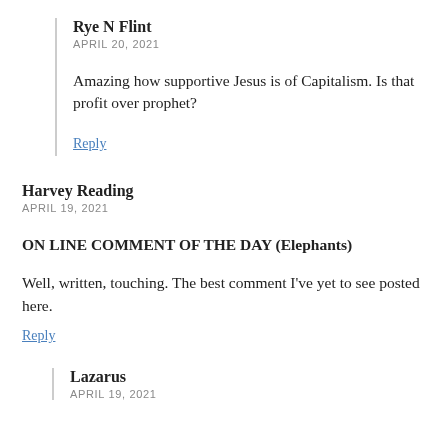Rye N Flint
APRIL 20, 2021
Amazing how supportive Jesus is of Capitalism. Is that profit over prophet?
Reply
Harvey Reading
APRIL 19, 2021
ON LINE COMMENT OF THE DAY (Elephants)
Well, written, touching. The best comment I've yet to see posted here.
Reply
Lazarus
APRIL 19, 2021